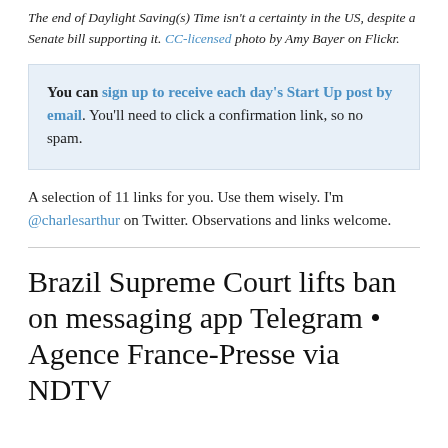The end of Daylight Saving(s) Time isn't a certainty in the US, despite a Senate bill supporting it. CC-licensed photo by Amy Bayer on Flickr.
You can sign up to receive each day's Start Up post by email. You'll need to click a confirmation link, so no spam.
A selection of 11 links for you. Use them wisely. I'm @charlesarthur on Twitter. Observations and links welcome.
Brazil Supreme Court lifts ban on messaging app Telegram • Agence France-Presse via NDTV